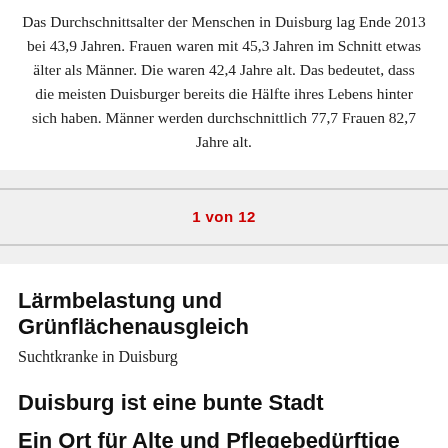Das Durchschnittsalter der Menschen in Duisburg lag Ende 2013 bei 43,9 Jahren. Frauen waren mit 45,3 Jahren im Schnitt etwas älter als Männer. Die waren 42,4 Jahre alt. Das bedeutet, dass die meisten Duisburger bereits die Hälfte ihres Lebens hinter sich haben. Männer werden durchschnittlich 77,7 Frauen 82,7 Jahre alt.
1 von 12
Lärmbelastung und Grünflächenausgleich
Suchtkranke in Duisburg
Duisburg ist eine bunte Stadt
Ein Ort für Alte und Pflegebedürftige